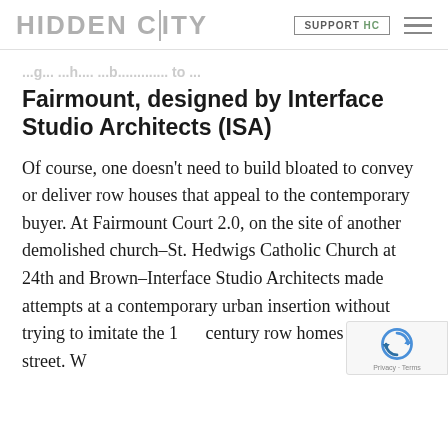HIDDEN CITY | SUPPORT HC
Fairmount, designed by Interface Studio Architects (ISA)
Of course, one doesn't need to build bloated to convey or deliver row houses that appeal to the contemporary buyer. At Fairmount Court 2.0, on the site of another demolished church–St. Hedwigs Catholic Church at 24th and Brown–Interface Studio Architects made attempts at a contemporary urban insertion without trying to imitate the 19th century row homes across the street. While